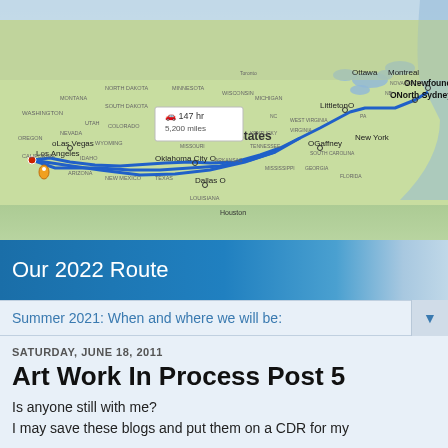[Figure (map): Google Maps screenshot showing a driving route across the United States from Los Angeles, CA through Dallas, Oklahoma City, Gaffney, Littleton, New York, Montreal, North Sydney to Newfoundland. Route is shown as a blue line. A callout box shows 147 hr, 5,200 miles. The label 'United States' appears in the center of the map.]
Our 2022 Route
Summer 2021: When and where we will be:
SATURDAY, JUNE 18, 2011
Art Work In Process Post 5
Is anyone still with me?
I may save these blogs and put them on a CDR for my